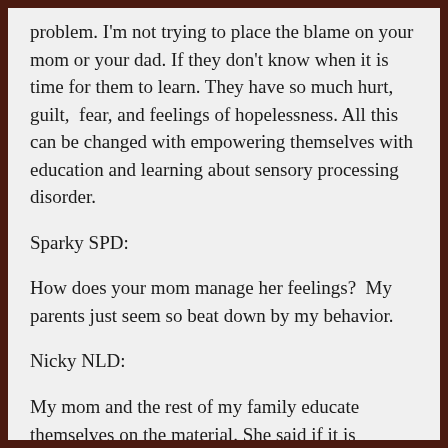problem. I'm not trying to place the blame on your mom or your dad. If they don't know when it is time for them to learn. They have so much hurt, guilt,  fear, and feelings of hopelessness. All this can be changed with empowering themselves with education and learning about sensory processing disorder.
Sparky SPD:
How does your mom manage her feelings?  My parents just seem so beat down by my behavior.
Nicky NLD:
My mom and the rest of my family educate themselves on the material. She said if it is nothing up to date, She would take action, bring the information up to date and create a new format